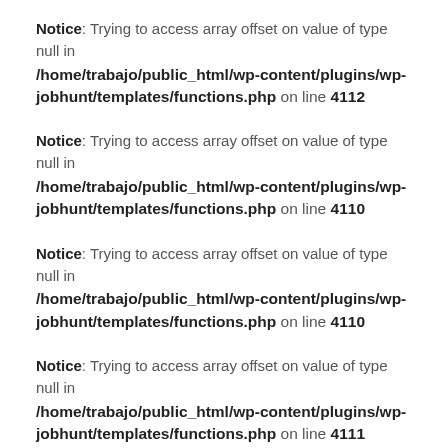Notice: Trying to access array offset on value of type null in /home/trabajo/public_html/wp-content/plugins/wp-jobhunt/templates/functions.php on line 4112
Notice: Trying to access array offset on value of type null in /home/trabajo/public_html/wp-content/plugins/wp-jobhunt/templates/functions.php on line 4110
Notice: Trying to access array offset on value of type null in /home/trabajo/public_html/wp-content/plugins/wp-jobhunt/templates/functions.php on line 4110
Notice: Trying to access array offset on value of type null in /home/trabajo/public_html/wp-content/plugins/wp-jobhunt/templates/functions.php on line 4111
Notice: Trying to access array offset on value of type null in /home/trabajo/public_html/wp-content/plugins/wp-jobhunt/templates/functions.php on line 4111